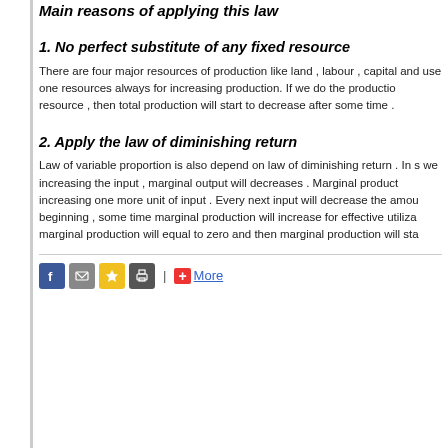Main reasons of applying this law
1. No perfect substitute of any fixed resource
There are four major resources of production like land , labour , capital and use one resources always for increasing production. If we do the production resource , then total production will start to decrease after some time .
2. Apply the law of diminishing return
Law of variable proportion is also depend on law of diminishing return . In s we increasing the input , marginal output will decreases . Marginal product increasing one more unit of input . Every next input will decrease the amou beginning , some time marginal production will increase for effective utiliza marginal production will equal to zero and then marginal production will sta
[Figure (other): Social sharing icons bar with Facebook, email, star/bookmark, print icons, a separator, and a More button with plus icon]